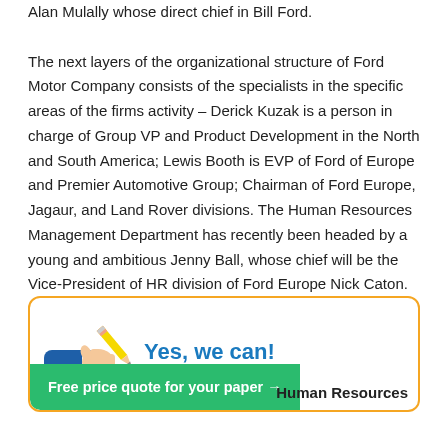Alan Mulally whose direct chief in Bill Ford. The next layers of the organizational structure of Ford Motor Company consists of the specialists in the specific areas of the firms activity – Derick Kuzak is a person in charge of Group VP and Product Development in the North and South America; Lewis Booth is EVP of Ford of Europe and Premier Automotive Group; Chairman of Ford Europe, Jagaur, and Land Rover divisions. The Human Resources Management Department has recently been headed by a young and ambitious Jenny Ball, whose chief will be the Vice-President of HR division of Ford Europe Nick Caton.
[Figure (infographic): Promotional banner with orange border, a hand holding a pencil illustration, bold blue text 'Yes, we can!', and a green button reading 'Free price quote for your paper →' with 'Human Resources' text partially visible to the right.]